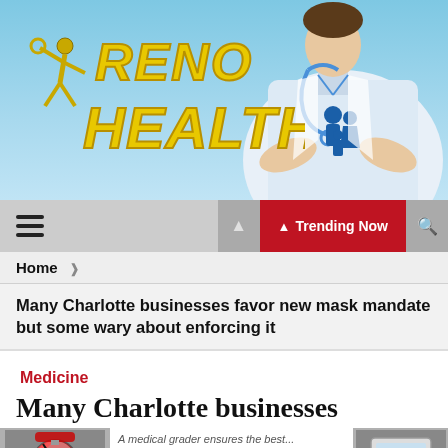[Figure (photo): Reno Health website banner with logo on left (gold/yellow Reno Health text with athlete figure) and doctor in white coat holding a family silhouette icon on blue background]
≡  🔥 Trending Now 🔍
Home ❯
Many Charlotte businesses favor new mask mandate but some wary about enforcing it
Medicine
Many Charlotte businesses
A medical grader ensures the best...